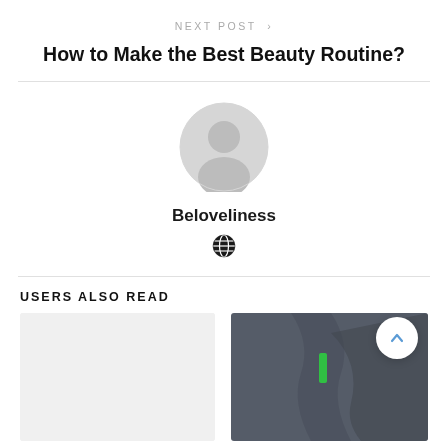NEXT POST >
How to Make the Best Beauty Routine?
[Figure (illustration): Default user avatar placeholder — grey circle with a person silhouette icon]
Beloveliness
[Figure (illustration): Globe/world icon in black]
USERS ALSO READ
[Figure (photo): Left thumbnail placeholder image, light grey]
[Figure (photo): Right thumbnail showing a dark grey fabric/clothing close-up with a green tag visible]